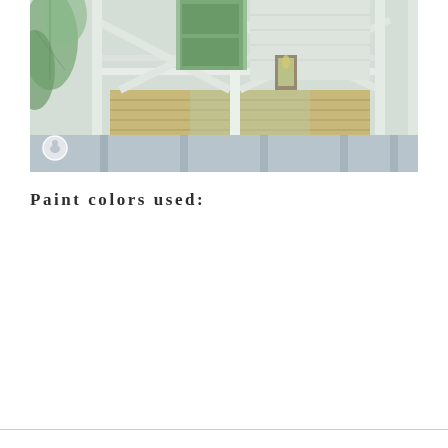[Figure (photo): Photograph of a home porch scene featuring white wooden railings and posts forming diagonal cross patterns, a green door in the background, wooden plank flooring with light green/yellow tones, a glass lantern with a candle, and green foliage/plant leaves in the foreground left. A small circular logo/watermark is visible in the lower left of the image.]
Paint colors used: